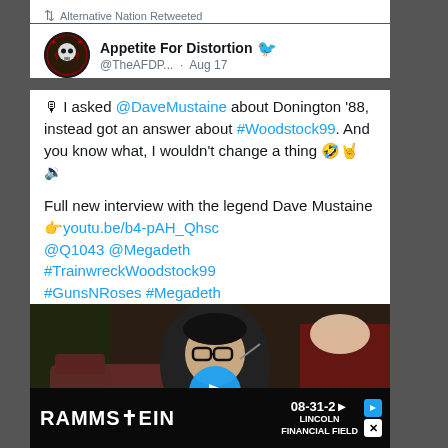Alternative Nation Retweeted
Appetite For Distortion @TheAFDP... · Aug 17
🎙 I asked @DaveMustaine about Donington '88, instead got an answer about #Woodstock99. And you know what, I wouldn't change a thing 🤣🤘 🔉

Full new interview with the legend Dave Mustaine 👉youtu.be/b4-pAH_Qhsc @Q1043 @Megadeth #TrainwreckWoodstock99 #GunsNRoses #Megadeth
[Figure (screenshot): Video thumbnail showing a person wearing glasses in a room, with a blue play button overlay]
RAMMSTEIN 08-31-2 LINCOLN FINANCIAL FIELD